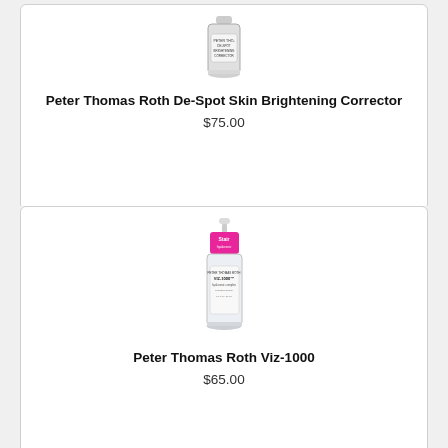[Figure (photo): Product photo of Peter Thomas Roth De-Spot Skin Brightening Corrector bottle, a small white/clear bottle with label]
Peter Thomas Roth De-Spot Skin Brightening Corrector
$75.00
[Figure (photo): Product photo of Peter Thomas Roth Viz-1000 bottle, a clear bottle with pink Stair label on top and product label on body]
Peter Thomas Roth Viz-1000
$65.00